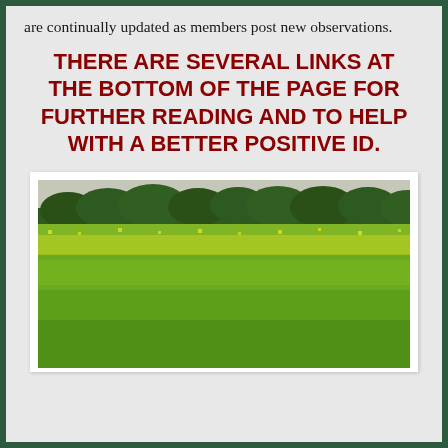are continually updated as members post new observations.
THERE ARE SEVERAL LINKS AT THE BOTTOM OF THE PAGE FOR FURTHER READING AND TO HELP WITH A BETTER POSITIVE ID.
[Figure (photo): A large field densely covered with yellow-flowered plants (likely wild mustard or similar), with a line of green trees visible along the horizon under an overcast sky.]